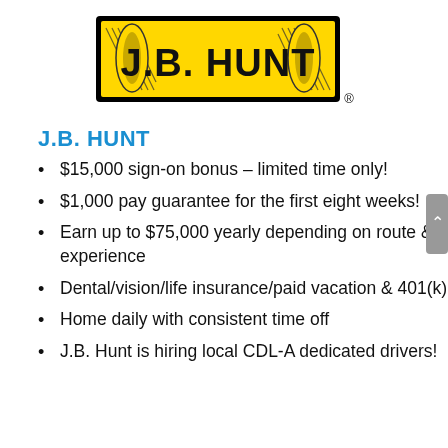[Figure (logo): J.B. Hunt logo — yellow rectangle with black border, diagonal lines on left and right sides, bold black text 'J.B. HUNT' in the center, registered trademark symbol to the right]
J.B. HUNT
$15,000 sign-on bonus – limited time only!
$1,000 pay guarantee for the first eight weeks!
Earn up to $75,000 yearly depending on route & experience
Dental/vision/life insurance/paid vacation & 401(k)
Home daily with consistent time off
J.B. Hunt is hiring local CDL-A dedicated drivers!